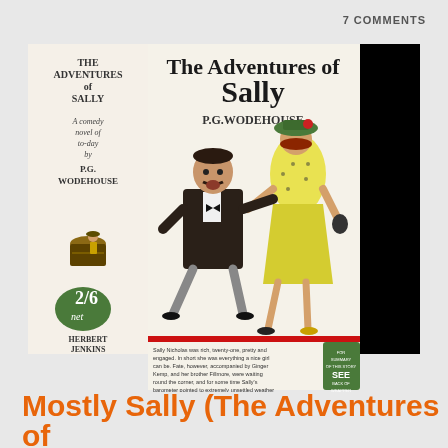7 COMMENTS
[Figure (photo): Book cover of 'The Adventures of Sally' by P.G. Wodehouse, Herbert Jenkins publisher. Shows a woman in a yellow dress with a green hat and a man in a suit on the cover. The spine reads 'The Adventures of Sally, a comedy novel of to-day by P.G. Wodehouse'. Price tag shows 2/6 net. Back cover partially visible (black). Descriptive text at bottom reads: 'Sally Nicholas was rich, twenty-one, pretty and engaged. In short she was everything a nice girl can be. Fate, however, accompanied by Ginger Kemp, and her brother Fillmore, were waiting round the corner, and for some time Sally's barometer pointed to extremely unsettled weather']
Mostly Sally (The Adventures of